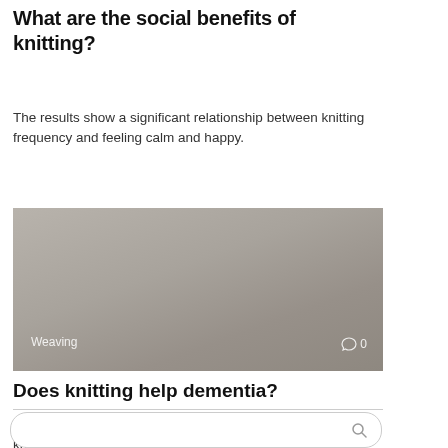What are the social benefits of knitting?
The results show a significant relationship between knitting frequency and feeling calm and happy.
[Figure (photo): A greyish-brown gradient image with a label 'Weaving' at the bottom left and a comment icon with '0' at the bottom right.]
Does knitting help dementia?
“There is an enormous amount of research showing that knitting has physical and mental